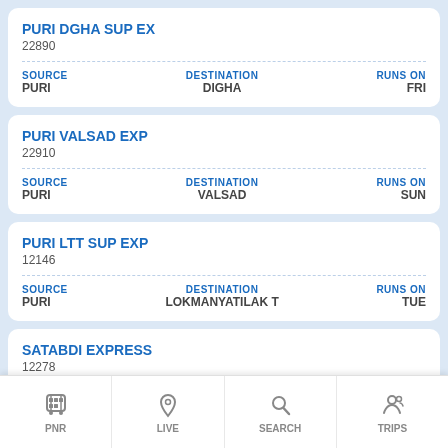PURI DGHA SUP EX
22890
| SOURCE | DESTINATION | RUNS ON |
| --- | --- | --- |
| PURI | DIGHA | FRI |
PURI VALSAD EXP
22910
| SOURCE | DESTINATION | RUNS ON |
| --- | --- | --- |
| PURI | VALSAD | SUN |
PURI LTT SUP EXP
12146
| SOURCE | DESTINATION | RUNS ON |
| --- | --- | --- |
| PURI | LOKMANYATILAK T | TUE |
SATABDI EXPRESS
12278
PNR  LIVE  SEARCH  TRIPS